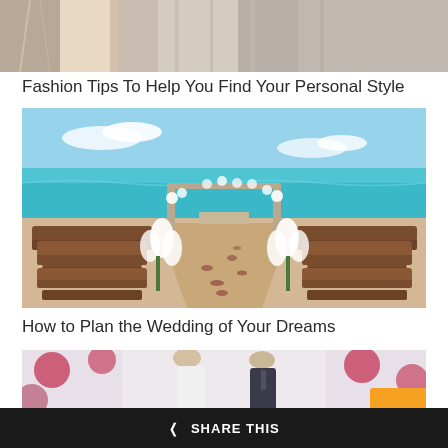[Figure (photo): Top portion of a fashion photo showing clothing/fabric in neutral tones, partially cropped]
Fashion Tips To Help You Find Your Personal Style
[Figure (photo): Beach wedding ceremony setup with wooden chairs lining an aisle decorated with white lilies leading to a wooden arch, ocean and blue sky in background]
How to Plan the Wedding of Your Dreams
[Figure (photo): Couple at a wedding, woman in white dress with updo hairstyle, man in dark suit with tie, blurred floral background]
< SHARE THIS